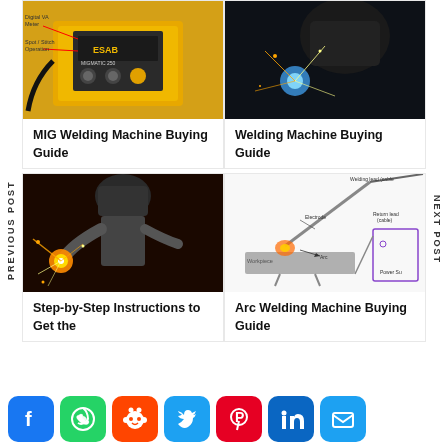[Figure (photo): Yellow MIG welding machine (ESAB brand) with labels pointing to Digital VA Meter and Spot/Stitch Operation]
MIG Welding Machine Buying Guide
[Figure (photo): Welding in action with sparks and blue arc light, welder with helmet]
Welding Machine Buying Guide
[Figure (photo): Welder using equipment with bright sparks flying]
Step-by-Step Instructions to Get the
[Figure (schematic): Arc welding machine diagram showing Welding lead (cable), Electrode, Return lead (cable), Arc, Workpiece, Power Supply]
Arc Welding Machine Buying Guide
PREVIOUS POST
NEXT POST